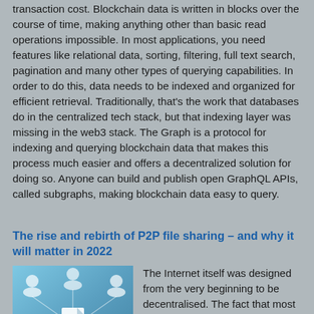transaction cost. Blockchain data is written in blocks over the course of time, making anything other than basic read operations impossible. In most applications, you need features like relational data, sorting, filtering, full text search, pagination and many other types of querying capabilities. In order to do this, data needs to be indexed and organized for efficient retrieval. Traditionally, that's the work that databases do in the centralized tech stack, but that indexing layer was missing in the web3 stack. The Graph is a protocol for indexing and querying blockchain data that makes this process much easier and offers a decentralized solution for doing so. Anyone can build and publish open GraphQL APIs, called subgraphs, making blockchain data easy to query.
The rise and rebirth of P2P file sharing – and why it will matter in 2022
[Figure (photo): A hand holding a document/file icon in front of a network of connected user icons on a blue/teal background, representing P2P file sharing and decentralized networks.]
The Internet itself was designed from the very beginning to be decentralised. The fact that most of our data and computing ended up being centralised on Big Tech's